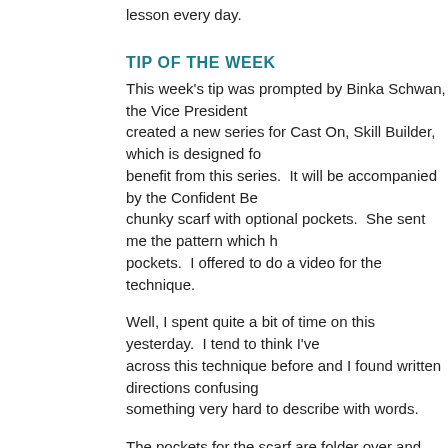lesson every day.
TIP OF THE WEEK
This week's tip was prompted by Binka Schwan, the Vice President created a new series for Cast On, Skill Builder, which is designed fo benefit from this series.  It will be accompanied by the Confident Be chunky scarf with optional pockets.  She sent me the pattern which pockets.  I offered to do a video for the technique.
Well, I spent quite a bit of time on this yesterday.  I tend to think I've across this technique before and I found written directions confusing something very hard to describe with words.
The pockets for the scarf are folder over and then seamed.  I assum stitch and I couldn't force Binka's instruction to do what I thought the direction...The Principles of Knitting by June Hemmons Hiatt.  If you prepare yourself.  There is pretty much nothing you can do in knitting the names she gives things are not found anywhere else which mak calls the mattress stitch the running stitch and if you've embroidered doesn't have much in common with the mattress stitch.
Anyway, this is a technique Hiatt calls Selvedge Seam.  It is used wh on the outside of the piece rather than on the inside as they would b used this before.  She recommends using is when seaming garment doing this.  Selvedge stitches are ugly so why would you want them